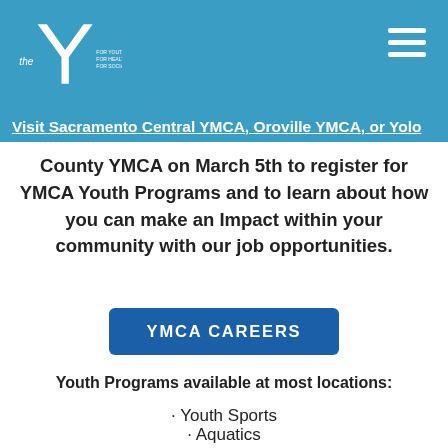YMCA logo header with navigation menu
Visit Sacramento Central YMCA, Oroville YMCA, or Yolo County YMCA on March 5th to register for YMCA Youth Programs and to learn about how you can make an Impact within your community with our job opportunities.
YMCA CAREERS
Youth Programs available at most locations:
· Youth Sports
· Aquatics
· Childcare
· Bear Valley Camp
· Summer at the Y